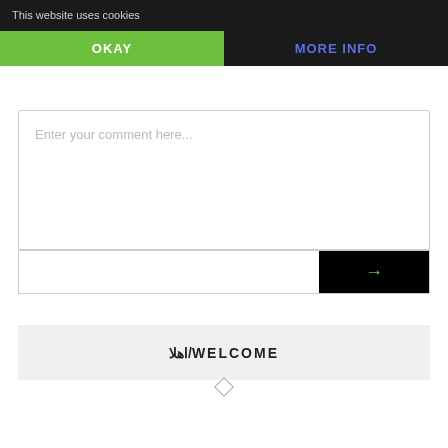LEAVE A REPLY
This website uses cookies
OKAY
MORE INFO
Enter your comment here...
[Figure (screenshot): Email input box with black arrow button on the right]
اهلا/WELCOME